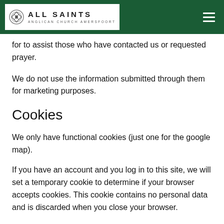ALL SAINTS ANGLICAN CHURCH AMERSFOORT
for to assist those who have contacted us or requested prayer.
We do not use the information submitted through them for marketing purposes.
Cookies
We only have functional cookies (just one for the google map).
If you have an account and you log in to this site, we will set a temporary cookie to determine if your browser accepts cookies. This cookie contains no personal data and is discarded when you close your browser.